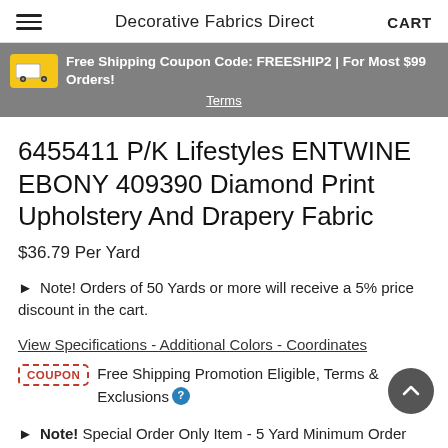Decorative Fabrics Direct  CART
Free Shipping Coupon Code: FREESHIP2 | For Most $99 Orders! Terms
6455411 P/K Lifestyles ENTWINE EBONY 409390 Diamond Print Upholstery And Drapery Fabric
$36.79 Per Yard
► Note! Orders of 50 Yards or more will receive a 5% price discount in the cart.
View Specifications - Additional Colors - Coordinates
COUPON  Free Shipping Promotion Eligible, Terms & Exclusions
► Note! Special Order Only Item - 5 Yard Minimum Order